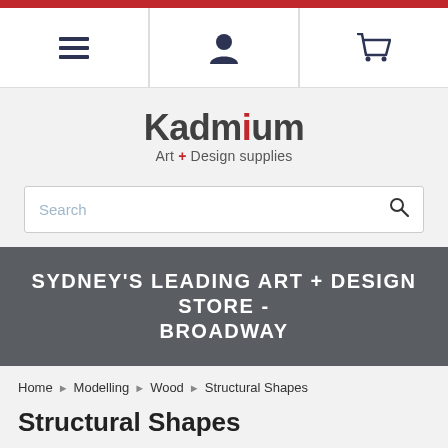[Figure (screenshot): Website header with navigation icons: hamburger menu, user account, and shopping cart]
[Figure (logo): Kadmium logo with red dot on the i, subtitle: Art + Design supplies]
Search
SYDNEY'S LEADING ART + DESIGN STORE - BROADWAY
Home > Modelling > Wood > Structural Shapes
Structural Shapes
ANGLE   CHANNEL   COLUMN   I-BEAM